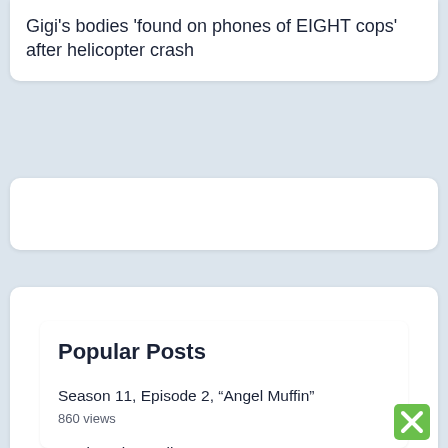Gigi’s bodies ‘found on phones of EIGHT cops’ after helicopter crash
[Figure (other): Empty white card / placeholder]
Popular Posts
Season 11, Episode 2, “Angel Muffin”
860 views
Regina King Calls Son Ian